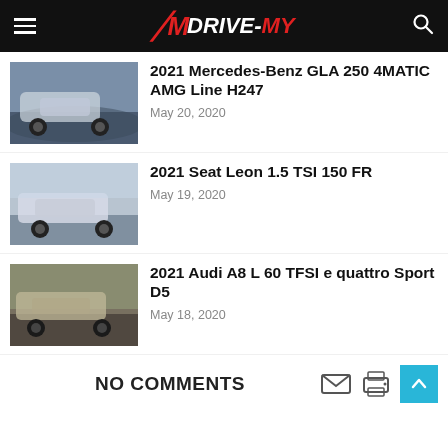DRIVE-MY
2021 Mercedes-Benz GLA 250 4MATIC AMG Line H247
May 20, 2020
2021 Seat Leon 1.5 TSI 150 FR
May 19, 2020
2021 Audi A8 L 60 TFSI e quattro Sport D5
May 18, 2020
NO COMMENTS